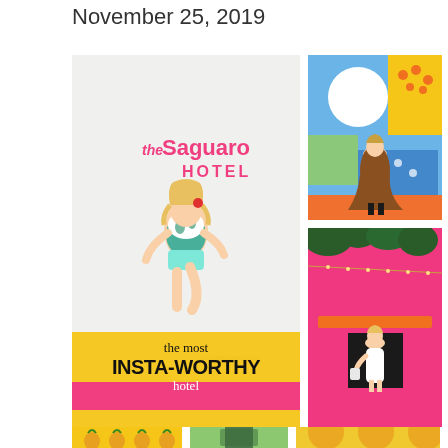November 25, 2019
[Figure (photo): Woman jumping in front of 'the Saguaro HOTEL' pink sign on white wall, wearing tropical print swimsuit top and aqua shorts, watermark pursuingpretty.com]
[Figure (photo): Woman in brown floral dress posing against colorful geometric mural wall with yellow, blue, green, orange sections and white circle]
[Figure (photo): Woman in white dress posing in front of bright pink building exterior with orange accent and string lights overhead]
the most INSTA-WORTHY hotel
[Figure (photo): Bottom strip showing three partial images: pineapples on yellow background, green foliage/door, yellow umbrella/outdoor scene]